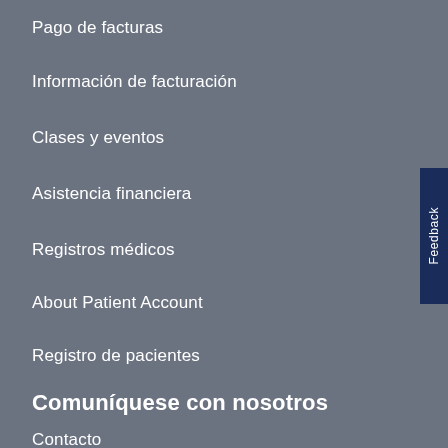Pago de facturas
Información de facturación
Clases y eventos
Asistencia financiera
Registros médicos
About Patient Account
Registro de pacientes
Comuníquese con nosotros
Contacto